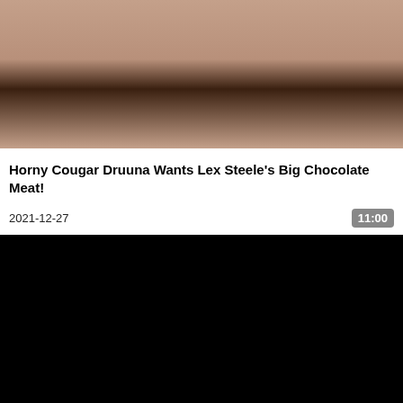[Figure (photo): Cropped close-up photo showing skin tones, top portion of image]
Horny Cougar Druuna Wants Lex Steele's Big Chocolate Meat!
2021-12-27
11:00
[Figure (screenshot): Black video player area]